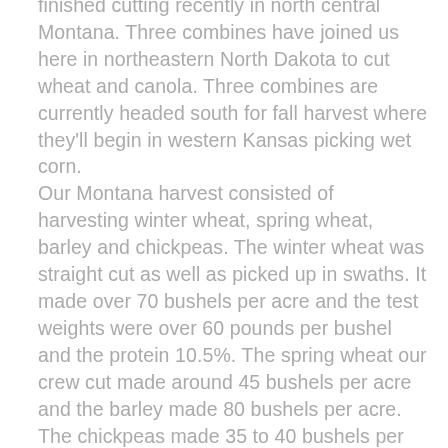finished cutting recently in north central Montana. Three combines have joined us here in northeastern North Dakota to cut wheat and canola. Three combines are currently headed south for fall harvest where they'll begin in western Kansas picking wet corn. Our Montana harvest consisted of harvesting winter wheat, spring wheat, barley and chickpeas. The winter wheat was straight cut as well as picked up in swaths. It made over 70 bushels per acre and the test weights were over 60 pounds per bushel and the protein 10.5%. The spring wheat our crew cut made around 45 bushels per acre and the barley made 80 bushels per acre. The chickpeas made 35 to 40 bushels per acre. Overall, the weather was very hot and dry while our crews were in Montana. The conditions were good. However, if anyone wants a job cleaning up rocks in the fields